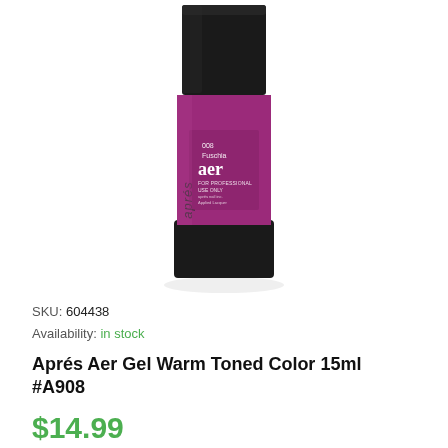[Figure (photo): A nail gel polish bottle from Aprés Aer brand. The bottle has a black matte cap and base with a fuchsia/magenta colored body. Text on the label reads '008 Fuschia aer FOR PROFESSIONAL USE ONLY'. The brand name 'aprés' is printed on the side of the black base.]
SKU: 604438
Availability: in stock
Aprés Aer Gel Warm Toned Color 15ml #A908
$14.99